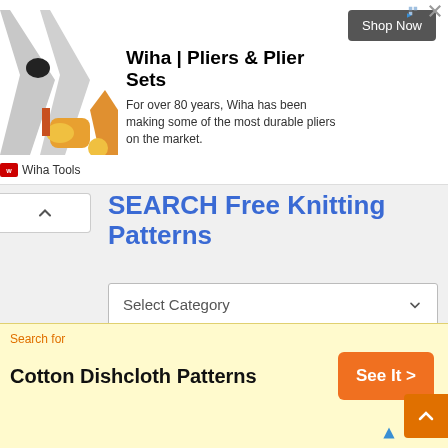[Figure (screenshot): Advertisement banner for Wiha Pliers and Plier Sets showing product image, logo, description text, and Shop Now button]
SEARCH Free Knitting Patterns
[Figure (screenshot): Dropdown selector labeled Select Category with chevron icon]
[Figure (screenshot): Bottom advertisement banner with yellow background: Search for Cotton Dishcloth Patterns, See It button]